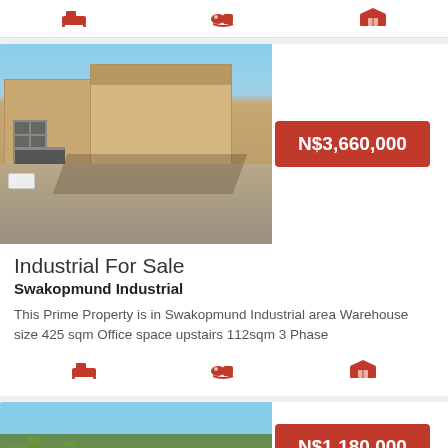[Figure (other): Top of partially visible property listing card showing amenity icons (bed, bath, garage) in red]
[Figure (photo): Photo of industrial warehouse building with paved courtyard in Swakopmund Industrial area]
N$3,660,000
Industrial For Sale
Swakopmund Industrial
This Prime Property is in Swakopmund Industrial area Warehouse size 425 sqm Office space upstairs 112sqm 3 Phase
[Figure (other): Property amenity icons: bed, bath, garage in red]
[Figure (photo): Photo of landscape property with palm trees and sky, Swakopmund]
N$1,180,000